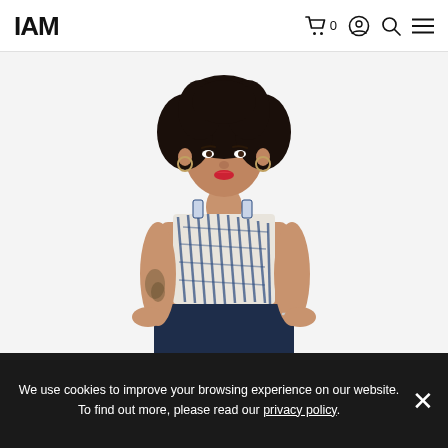IAM
[Figure (photo): Woman with curly hair wearing a blue and white printed crop top and navy skirt, standing with hands on hips against a white background]
We use cookies to improve your browsing experience on our website. To find out more, please read our privacy policy.